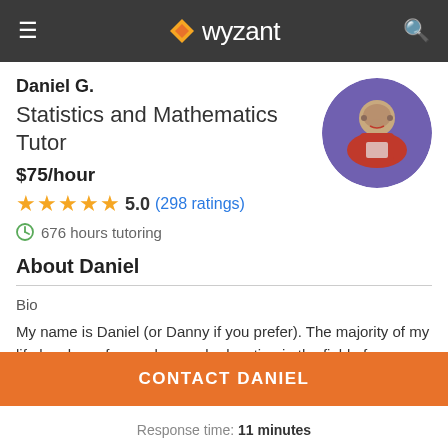wyzant
Daniel G.
Statistics and Mathematics Tutor
$75/hour
5.0 (298 ratings)
676 hours tutoring
[Figure (photo): Circular profile photo of Daniel G., a young man in a red shirt at an event]
About Daniel
Bio
My name is Daniel (or Danny if you prefer). The majority of my life has been focused around education in the field of
CONTACT DANIEL
Response time: 11 minutes